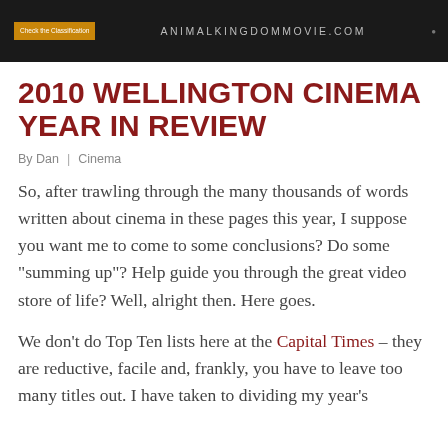[Figure (illustration): Dark banner advertisement for animalkingdommovie.com with an orange classification button on the left, the URL in gray text in the center, and a small logo on the right]
2010 WELLINGTON CINEMA YEAR IN REVIEW
By Dan  |  Cinema
So, after trawling through the many thousands of words written about cinema in these pages this year, I suppose you want me to come to some conclusions? Do some “summing up”? Help guide you through the great video store of life? Well, alright then. Here goes.
We don’t do Top Ten lists here at the Capital Times – they are reductive, facile and, frankly, you have to leave too many titles out. I have taken to dividing my year’s